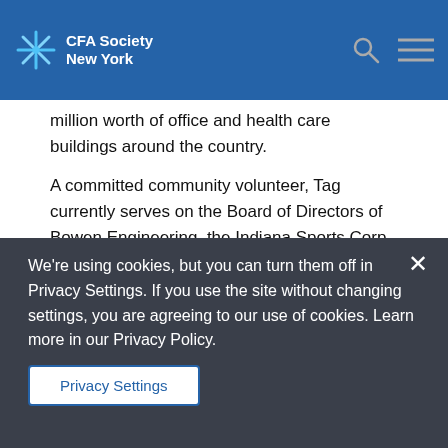CFA Society New York
million worth of office and health care buildings around the country.
A committed community volunteer, Tag currently serves on the Board of Directors of Bowen Engineering, the Indiana Sports Corp Board, the Building Owner's and Management Association Board, the Heart of Gold Charity Board and the Penrod Society. He is also Alumni President of the University of Virginia Law School Class of 1987...
We're using cookies, but you can turn them off in Privacy Settings. If you use the site without changing settings, you are agreeing to our use of cookies. Learn more in our Privacy Policy.
Privacy Settings